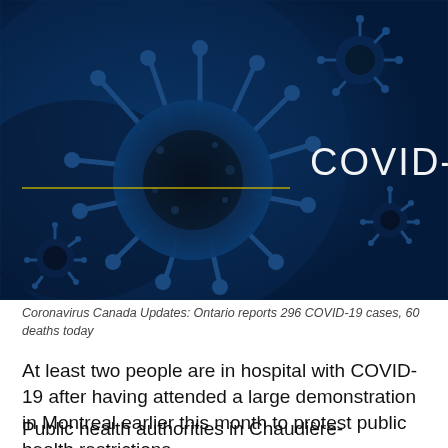[Figure (photo): A dark blue microscopic image of coronavirus particles with the text 'COVID-19' in large white letters on the right side, and a thin yellow horizontal line across the middle of the image.]
Coronavirus Canada Updates: Ontario reports 296 COVID-19 cases, 60 deaths today
At least two people are in hospital with COVID-19 after having attended a large demonstration in Montreal earlier this month to protest public health restrictions.
Public health authorities in Chaudière-Appalaches, the region south of Quebec City, had expressed concern